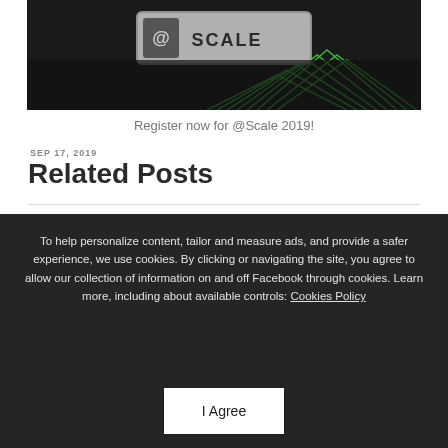[Figure (photo): @Scale 2019 conference sign on dark background with green geometric line patterns]
Register now for @Scale 2019!
SEP 17, 2019
Related Posts
To help personalize content, tailor and measure ads, and provide a safer experience, we use cookies. By clicking or navigating the site, you agree to allow our collection of information on and off Facebook through cookies. Learn more, including about available controls: Cookies Policy
I Agree